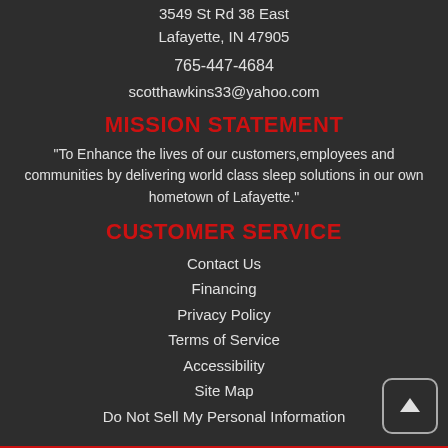3549 St Rd 38 East
Lafayette, IN 47905
765-447-4684
scotthawkins33@yahoo.com
MISSION STATEMENT
"To Enhance the lives of our customers,employees and communities by delivering world class sleep solutions in our own hometown of Lafayette."
CUSTOMER SERVICE
Contact Us
Financing
Privacy Policy
Terms of Service
Accessibility
Site Map
Do Not Sell My Personal Information